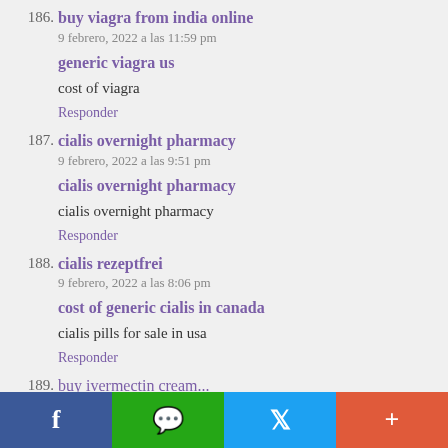186. buy viagra from india online
9 febrero, 2022 a las 11:59 pm
generic viagra us
cost of viagra
Responder
187. cialis overnight pharmacy
9 febrero, 2022 a las 9:51 pm
cialis overnight pharmacy
cialis overnight pharmacy
Responder
188. cialis rezeptfrei
9 febrero, 2022 a las 8:06 pm
cost of generic cialis in canada
cialis pills for sale in usa
Responder
189. buy ivermectin cream...